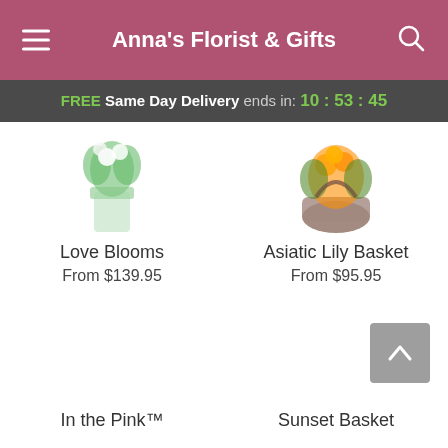Anna's Florist & Gifts
FREE Same Day Delivery ends in: 10:53:45
[Figure (photo): Flower product photo - Love Blooms arrangement in glass vase]
Love Blooms
From $139.95
[Figure (photo): Flower product photo - Asiatic Lily Basket arrangement]
Asiatic Lily Basket
From $95.95
In the Pink™
Sunset Basket